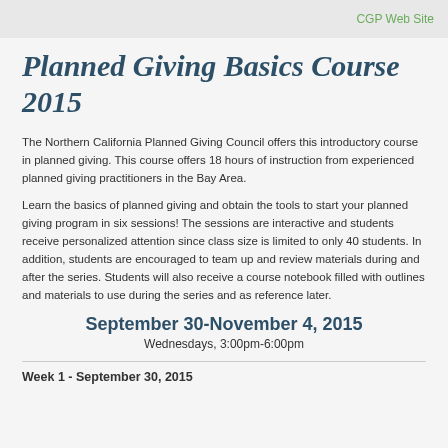CGP Web Site
Planned Giving Basics Course 2015
The Northern California Planned Giving Council offers this introductory course in planned giving. This course offers 18 hours of instruction from experienced planned giving practitioners in the Bay Area.
Learn the basics of planned giving and obtain the tools to start your planned giving program in six sessions! The sessions are interactive and students receive personalized attention since class size is limited to only 40 students. In addition, students are encouraged to team up and review materials during and after the series. Students will also receive a course notebook filled with outlines and materials to use during the series and as reference later.
September 30-November 4, 2015
Wednesdays, 3:00pm-6:00pm
Week 1 - September 30, 2015